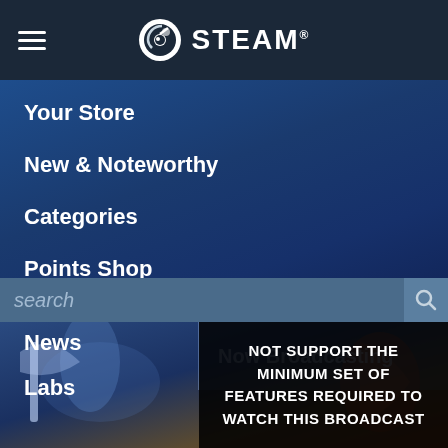STEAM
Your Store
New & Noteworthy
Categories
Points Shop
News
Labs
Now Broadcasting
search
[Figure (screenshot): Fantasy game artwork showing warrior figures on left and right sides with glowing effects]
NOT SUPPORT THE MINIMUM SET OF FEATURES REQUIRED TO WATCH THIS BROADCAST